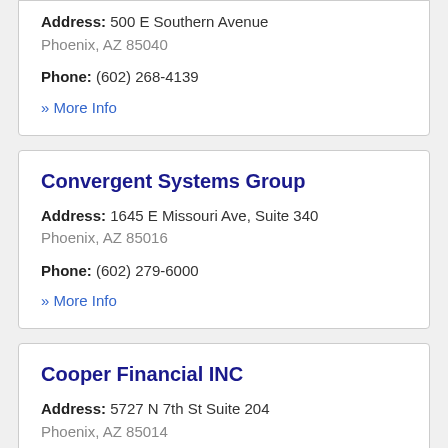Address: 500 E Southern Avenue Phoenix, AZ 85040
Phone: (602) 268-4139
» More Info
Convergent Systems Group
Address: 1645 E Missouri Ave, Suite 340 Phoenix, AZ 85016
Phone: (602) 279-6000
» More Info
Cooper Financial INC
Address: 5727 N 7th St Suite 204 Phoenix, AZ 85014